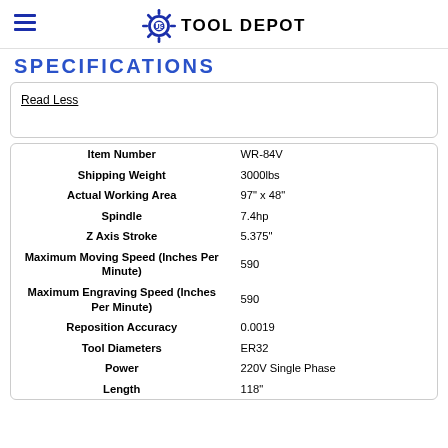US TOOL DEPOT
SPECIFICATIONS
Read Less
|  |  |
| --- | --- |
| Item Number | WR-84V |
| Shipping Weight | 3000lbs |
| Actual Working Area | 97" x 48" |
| Spindle | 7.4hp |
| Z Axis Stroke | 5.375" |
| Maximum Moving Speed (Inches Per Minute) | 590 |
| Maximum Engraving Speed (Inches Per Minute) | 590 |
| Reposition Accuracy | 0.0019 |
| Tool Diameters | ER32 |
| Power | 220V Single Phase |
| Length | 118" |